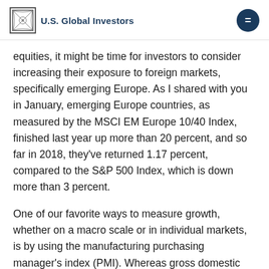U.S. Global Investors
equities, it might be time for investors to consider increasing their exposure to foreign markets, specifically emerging Europe. As I shared with you in January, emerging Europe countries, as measured by the MSCI EM Europe 10/40 Index, finished last year up more than 20 percent, and so far in 2018, they've returned 1.17 percent, compared to the S&P 500 Index, which is down more than 3 percent.
One of our favorite ways to measure growth, whether on a macro scale or in individual markets, is by using the manufacturing purchasing manager's index (PMI). Whereas gross domestic